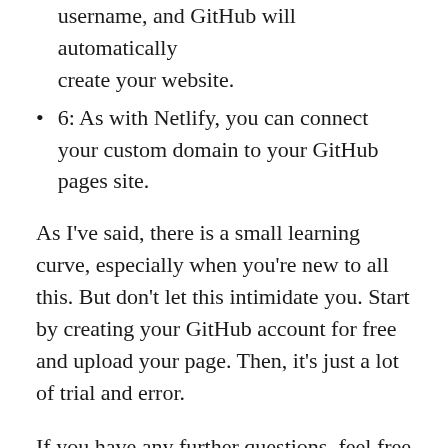username, and GitHub will automatically create your website.
6: As with Netlify, you can connect your custom domain to your GitHub pages site.
As I’ve said, there is a small learning curve, especially when you’re new to all this. But don’t let this intimidate you. Start by creating your GitHub account for free and upload your page. Then, it’s just a lot of trial and error.
If you have any further questions, feel free to send me a message. I’m happy to help.